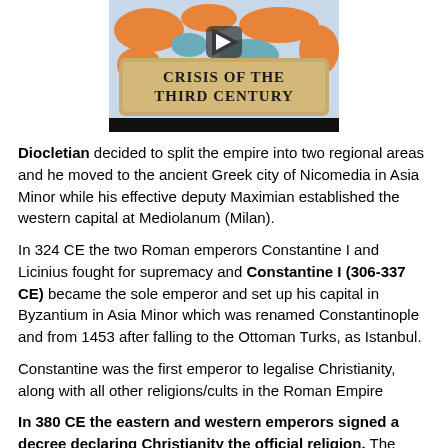[Figure (screenshot): Thumbnail image of a video titled 'CRISIS OF THE THIRD CENTURY' showing a historical map with orange and teal regions and a play button overlay]
Diocletian decided to split the empire into two regional areas and he moved to the ancient Greek city of Nicomedia in Asia Minor while his effective deputy Maximian established the western capital at Mediolanum (Milan).
In 324 CE the two Roman emperors Constantine I and Licinius fought for supremacy and Constantine I (306-337 CE) became the sole emperor and set up his capital in Byzantium in Asia Minor which was renamed Constantinople and from 1453 after falling to the Ottoman Turks, as Istanbul.
Constantine was the first emperor to legalise Christianity, along with all other religions/cults in the Roman Empire
In 380 CE the eastern and western emperors signed a decree declaring Christianity the official religion. The decree permitted the persecution of non believers!